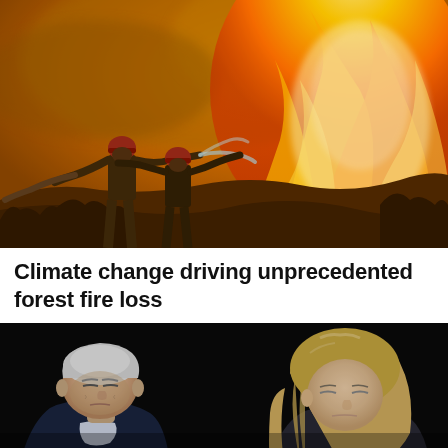[Figure (photo): Firefighters in red helmets battle a large forest fire, spraying water from a hose against a backdrop of intense orange flames and smoke]
Climate change driving unprecedented forest fire loss
[Figure (photo): An elderly man with white hair bowing his head, alongside a blonde woman also looking downward, against a dark background]